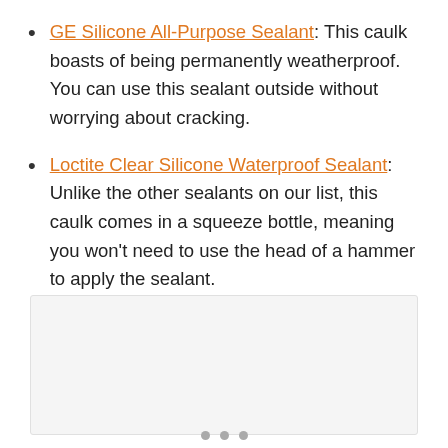GE Silicone All-Purpose Sealant: This caulk boasts of being permanently weatherproof. You can use this sealant outside without worrying about cracking.
Loctite Clear Silicone Waterproof Sealant: Unlike the other sealants on our list, this caulk comes in a squeeze bottle, meaning you won't need to use the head of a hammer to apply the sealant.
[Figure (photo): Product image placeholder with navigation dots below]